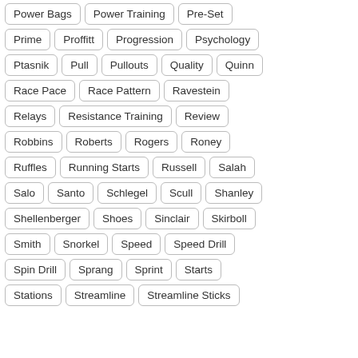Power Bags
Power Training
Pre-Set
Prime
Proffitt
Progression
Psychology
Ptasnik
Pull
Pullouts
Quality
Quinn
Race Pace
Race Pattern
Ravestein
Relays
Resistance Training
Review
Robbins
Roberts
Rogers
Roney
Ruffles
Running Starts
Russell
Salah
Salo
Santo
Schlegel
Scull
Shanley
Shellenberger
Shoes
Sinclair
Skirboll
Smith
Snorkel
Speed
Speed Drill
Spin Drill
Sprang
Sprint
Starts
Stations
Streamline
Streamline Sticks